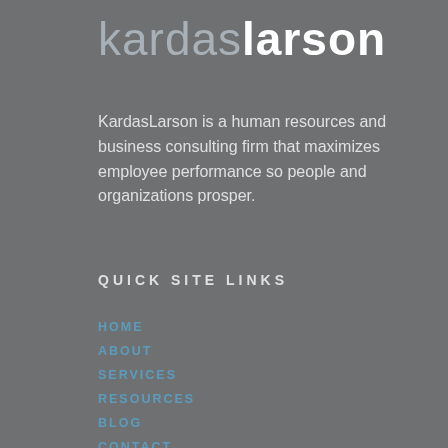kardaslarson
KardasLarson is a human resources and business consulting firm that maximizes employee performance so people and organizations prosper.
QUICK SITE LINKS
HOME
ABOUT
SERVICES
RESOURCES
BLOG
CONTACT
NEWSLETTER